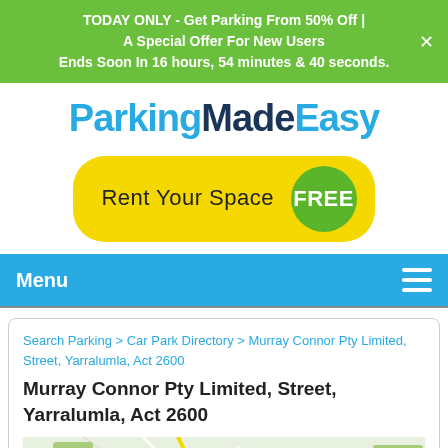TODAY ONLY - Get Parking From 50% Off | A Special Offer For New Users Ends Soon In 16 hours, 54 minutes & 40 seconds.
[Figure (logo): ParkingMadeEasy logo with blue and dark blue text]
[Figure (other): Rent Your Space FREE button - yellow rounded rectangle with green circle badge]
Menu
Search Parking > Car Park Directory > Murray Connor Pty Limited, Street, Yarralumla, Act 2600
Murray Connor Pty Limited, Street, Yarralumla, Act 2600
[Figure (map): Google Maps view showing Yarralumla area near Canberra with water and road network visible]